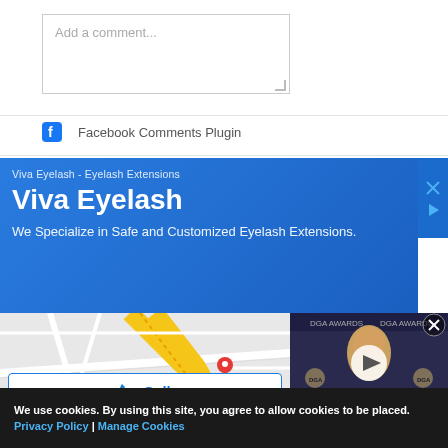Add a comment...
Facebook Comments Plugin
[Figure (screenshot): Advertisement banner for Viva Eyelash with blue gradient background showing business name and tagline]
[Figure (map): Google Maps view showing street map with yellow road and red location pin marker]
[Figure (screenshot): Video thumbnail showing a person at DGA Awards event with play button overlay]
LAPD Gets Warrant for Anne Heche's Blood in Wake of Near-Deadly Crash
We use cookies. By using this site, you agree to allow cookies to be placed. Privacy Policy | Manage Cookies